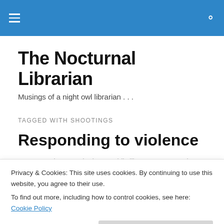The Nocturnal Librarian
Musings of a night owl librarian . . .
TAGGED WITH SHOOTINGS
Responding to violence
Privacy & Cookies: This site uses cookies. By continuing to use this website, you agree to their use.
To find out more, including how to control cookies, see here: Cookie Policy
permitted to do a display on drug addiction. New